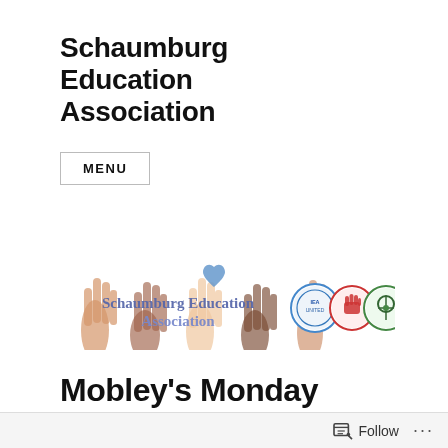Schaumburg Education Association
MENU
[Figure (illustration): Banner image showing diverse raised hands in various skin tones with a blue heart, overlaid with text 'Schaumburg Education Association' in blue/purple, and three circular logos on the right: a blue IEA/NEA United logo, a red fist logo, and a green community logo.]
Mobley's Monday Message 8-20-18
Follow ...